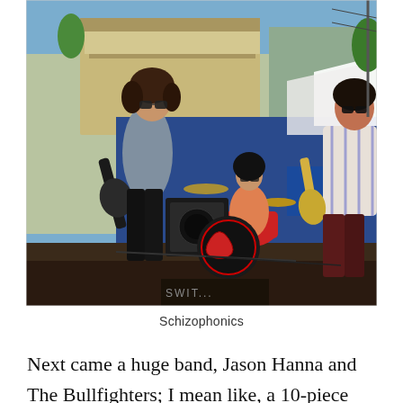[Figure (photo): Outdoor concert photo showing a band performing on a stage. A female guitarist on the left wearing sunglasses and a gray cardigan plays guitar. A female drummer sits at a red drum kit in the center background. A male guitarist on the right wears a striped shirt. Buildings and trees are visible in the background under a sunny blue sky.]
Schizophonics
Next came a huge band, Jason Hanna and The Bullfighters; I mean like, a 10-piece unit, including two go-go dancers. We were suddenly